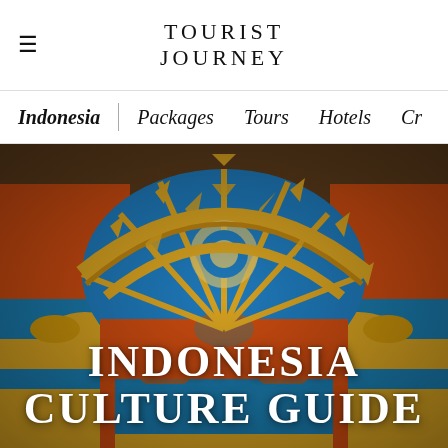TOURIST JOURNEY
Indonesia | Packages Tours Hotels Cr
[Figure (photo): Indonesian traditional dancer in colorful orange and blue traditional costume holding a decorative blue and gold fan with intricate patterns, with text overlay 'INDONESIA CULTURE GUIDE']
INDONESIA CULTURE GUIDE